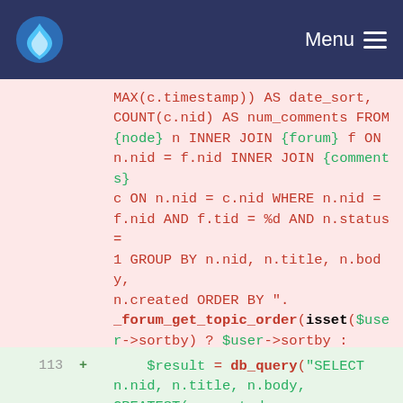Menu
MAX(c.timestamp)) AS date_sort, COUNT(c.nid) AS num_comments FROM {node} n INNER JOIN {forum} f ON n.nid = f.nid INNER JOIN {comments} c ON n.nid = c.nid WHERE n.nid = f.nid AND f.tid = %d AND n.status = 1 GROUP BY n.nid, n.title, n.body, n.created ORDER BY ". _forum_get_topic_order(isset($user->sortby) ? $user->sortby : variable_get("forum_order",1)), $node->tid);
113  +     $result = db_query("SELECT n.nid, n.title, n.body, GREATEST(n.created, MAX(c.timestamp)) AS date_sort, COUNT(c.nid) AS num_comments FROM {node} n INNER JOIN {forum} f ON n.nid = f.nid INNER JOIN {comments} c ON n.nid = c.nid WHERE n.nid =